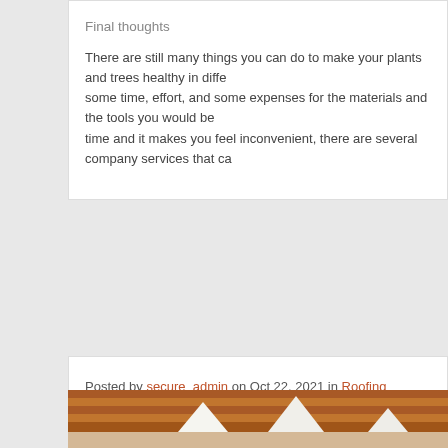Final thoughts
There are still many things you can do to make your plants and trees healthy in different ways. It needs some time, effort, and some expenses for the materials and the tools you would be needing. If you lack time and it makes you feel inconvenient, there are several company services that can help you.
Posted by secure_admin on Oct 22, 2021 in Roofing Service | 0 comments
Perks in Hiring Professional Roofing Co...
There are now so many professionals and companies that offer many different kinds of roofing services, both commercial roofing and residential roofing. So, if you are having trouble with the roof or you are looking for a roof for your new home then you should research about the best roofers in your area. There are surely so many options waiting for you, thus, you should not be worrying about finding the right roofing contractor for your home or for your building because there are a lot. We encourage you to hire roofing contractors to do some roofing services for you and for your home or commercial building. You will not regret anything about hiring professionals and we promise you that. As professional...
[Figure (photo): Photo of rooftops with orange-brown clay/terracotta roof tiles and white peaked gable walls visible, suggesting traditional European-style residential roofing.]